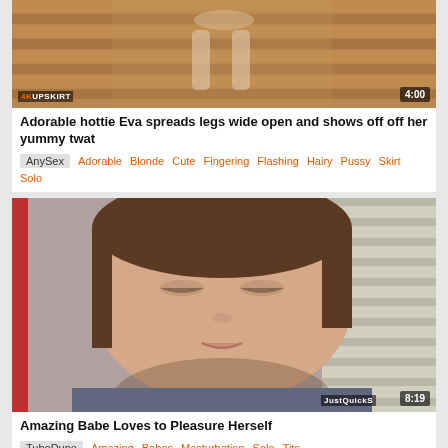[Figure (screenshot): Video thumbnail showing legs in a wooden sauna room with 4K UPSKIRT badge and 4:00 duration overlay]
Adorable hottie Eva spreads legs wide open and shows off off her yummy twat
AnySex  Adorable  Blonde  Cute  Fingering  Flashing  Hairy  Pussy  Skirt  Solo
[Figure (screenshot): Video thumbnail showing close-up of a brunette woman's face with eyes closed, JustQuickS badge and 8:19 duration overlay]
Amazing Babe Loves to Pleasure Herself
TubeDupe  Amazing  Babes  Masturbation  Solo  Tits
[Figure (screenshot): Partial video thumbnail at bottom of page, partially visible]